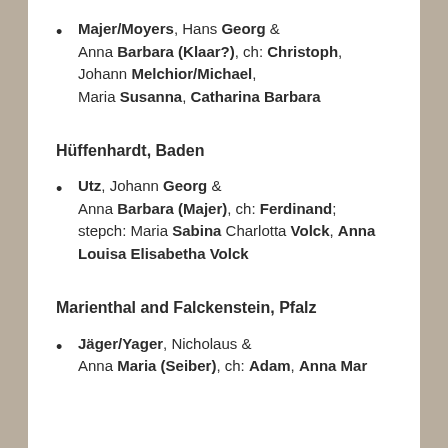Majer/Moyers, Hans Georg & Anna Barbara (Klaar?), ch: Christoph, Johann Melchior/Michael, Maria Susanna, Catharina Barbara
Hüffenhardt, Baden
Utz, Johann Georg & Anna Barbara (Majer), ch: Ferdinand; stepch: Maria Sabina Charlotta Volck, Anna Louisa Elisabetha Volck
Marienthal and Falckenstein, Pfalz
Jäger/Yager, Nicholaus & Anna Maria (Seiber), ch: Adam, Anna Mar…